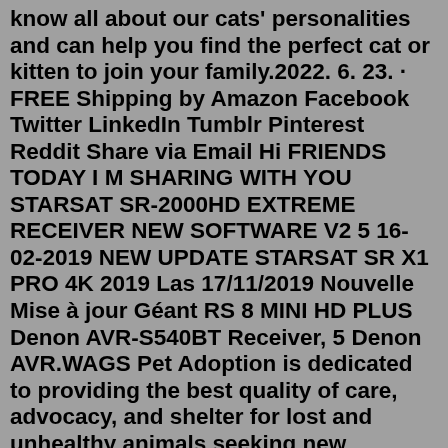know all about our cats' personalities and can help you find the perfect cat or kitten to join your family.2022. 6. 23. · FREE Shipping by Amazon Facebook Twitter LinkedIn Tumblr Pinterest Reddit Share via Email Hi FRIENDS TODAY I M SHARING WITH YOU STARSAT SR-2000HD EXTREME RECEIVER NEW SOFTWARE V2 5 16-02-2019 NEW UPDATE STARSAT SR X1 PRO 4K 2019 Las 17/11/2019 Nouvelle Mise à jour Géant RS 8 MINI HD PLUS Denon AVR-S540BT Receiver, 5 Denon AVR.WAGS Pet Adoption is dedicated to providing the best quality of care, advocacy, and shelter for lost and unhealthy animals seeking new permanent loving homes. We have been contracted by the city of Westminster to be responsible for the stray and unhealthy animals found in Westminster and Stanton California. WAGS Pet Adoption shelters and cares ... Adopt Search Adoptable Pets Pet of the Week Recently Adopted and Reunited Pets Download our Free OC PetTrack Mobile Application Lost Pets